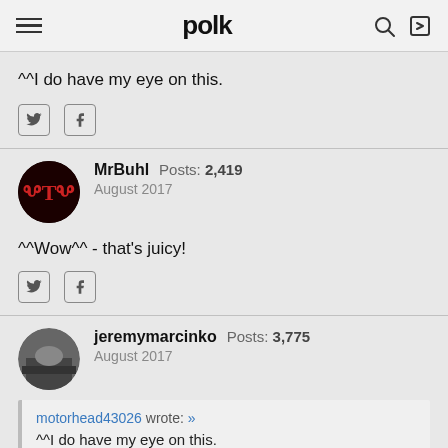polk
^^I do have my eye on this.
MrBuhl  Posts: 2,419  August 2017
^^Wow^^ - that's juicy!
jeremymarcinko  Posts: 3,775  August 2017
motorhead43026 wrote: »
^^I do have my eye on this.